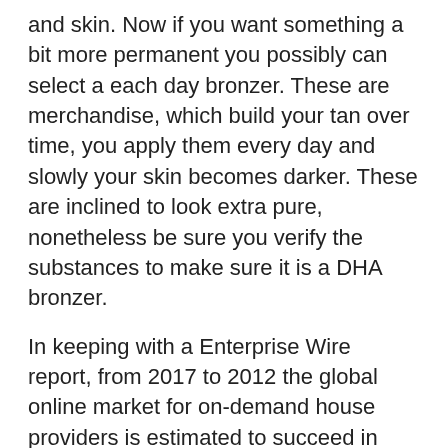and skin. Now if you want something a bit more permanent you possibly can select a each day bronzer. These are merchandise, which build your tan over time, you apply them every day and slowly your skin becomes darker. These are inclined to look extra pure, nonetheless be sure you verify the substances to make sure it is a DHA bronzer.
In keeping with a Enterprise Wire report, from 2017 to 2012 the global online market for on-demand house providers is estimated to succeed in around CAGR of 49%. Many of the startups like TaskRabbit, Handyman, UrbanClap, HouseJoy, and Uber have achieved nice success of their business as a result of on-demand service app. They have remodeled the best way of doing enterprise on account of their excellent enterprise mannequin and superior apps.
Generates extra revenue- Cell purposes associate with